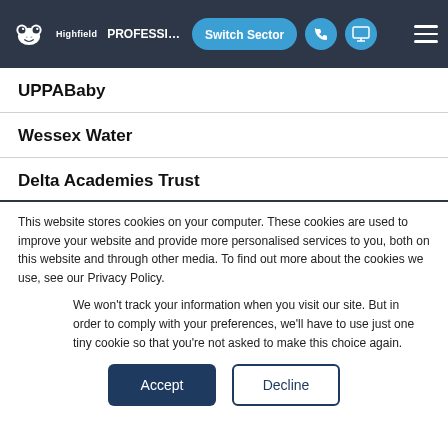Highfield PROFESSI... Switch Sector [navigation bar]
UPPABaby
Wessex Water
Delta Academies Trust
This website stores cookies on your computer. These cookies are used to improve your website and provide more personalised services to you, both on this website and through other media. To find out more about the cookies we use, see our Privacy Policy.
We won't track your information when you visit our site. But in order to comply with your preferences, we'll have to use just one tiny cookie so that you're not asked to make this choice again.
Accept | Decline